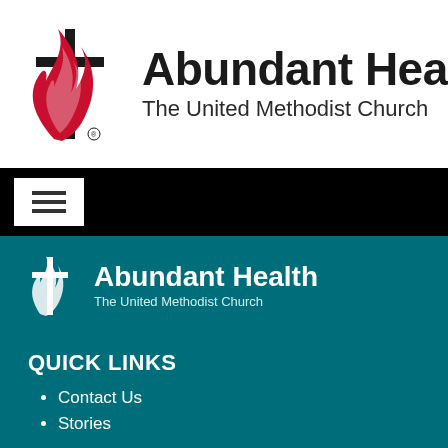[Figure (logo): United Methodist Church cross and flame logo with Abundant Health branding on white background]
[Figure (screenshot): Black navigation bar with white hamburger menu button]
[Figure (logo): United Methodist Church cross and flame logo with Abundant Health branding on teal background]
QUICK LINKS
Contact Us
Stories